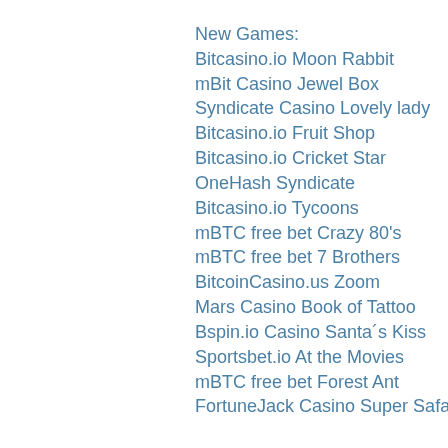New Games:
Bitcasino.io Moon Rabbit
mBit Casino Jewel Box
Syndicate Casino Lovely lady
Bitcasino.io Fruit Shop
Bitcasino.io Cricket Star
OneHash Syndicate
Bitcasino.io Tycoons
mBTC free bet Crazy 80's
mBTC free bet 7 Brothers
BitcoinCasino.us Zoom
Mars Casino Book of Tattoo
Bspin.io Casino Santa´s Kiss
Sportsbet.io At the Movies
mBTC free bet Forest Ant
FortuneJack Casino Super Safari
https://www.sacredheartsunningdale.com/profile/spanocrapsei/profile
https://www.thejewellerysystem.com/profile/laboretoledob/profile